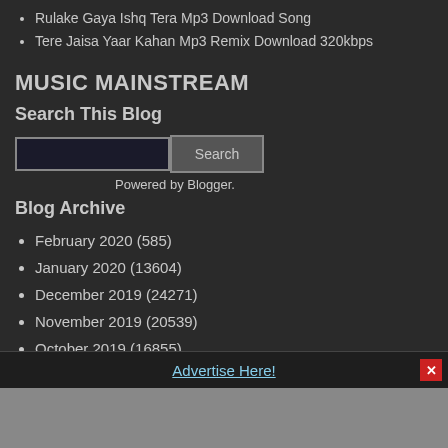Rulake Gaya Ishq Tera Mp3 Download Song
Tere Jaisa Yaar Kahan Mp3 Remix Download 320kbps
MUSIC MAINSTREAM
Search This Blog
Powered by Blogger.
Blog Archive
February 2020 (585)
January 2020 (13604)
December 2019 (24271)
November 2019 (20539)
October 2019 (16855)
Advertise Here!